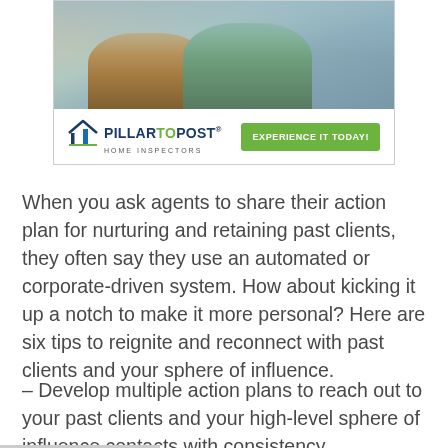[Figure (photo): Advertisement banner for Pillar To Post Home Inspectors showing two people sitting on a couch looking at papers, with the company logo and a green 'Experience It Today!' button]
When you ask agents to share their action plan for nurturing and retaining past clients, they often say they use an automated or corporate-driven system. How about kicking it up a notch to make it more personal? Here are six tips to reignite and reconnect with past clients and your sphere of influence.
– Develop multiple action plans to reach out to your past clients and your high-level sphere of influence contacts with consistency.